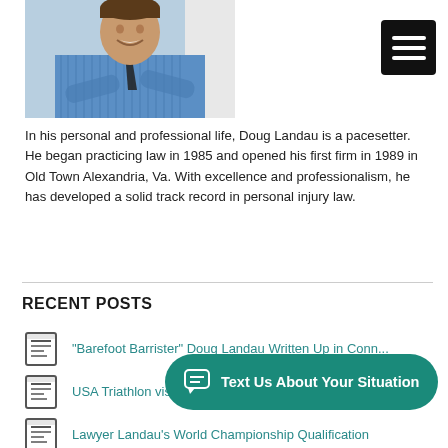[Figure (photo): Photo of Doug Landau, a smiling man in a blue striped shirt and dark tie, arms crossed, standing outdoors.]
[Figure (other): Hamburger menu icon button (three white horizontal lines on black background)]
In his personal and professional life, Doug Landau is a pacesetter. He began practicing law in 1985 and opened his first firm in 1989 in Old Town Alexandria, Va. With excellence and professionalism, he has developed a solid track record in personal injury law.
RECENT POSTS
“Barefoot Barrister” Doug Landau Written Up in Conn...
USA Triathlon vis...
Lawyer Landau’s World Championship Qualification
[Figure (other): Teal rounded button overlay with chat bubble icon and text: Text Us About Your Situation]